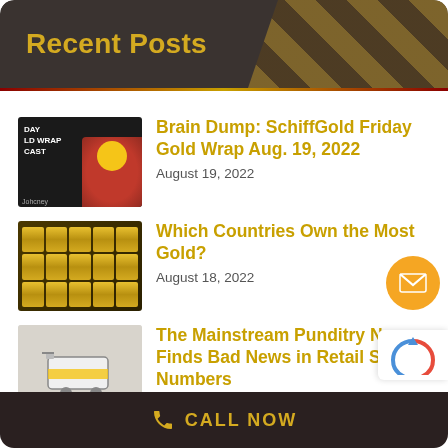Recent Posts
Brain Dump: SchiffGold Friday Gold Wrap Aug. 19, 2022
August 19, 2022
Which Countries Own the Most Gold?
August 18, 2022
The Mainstream Punditry Never Finds Bad News in Retail Sales Numbers
August 18, 2022
An Inauspicious Anniversary: Nixo
CALL NOW